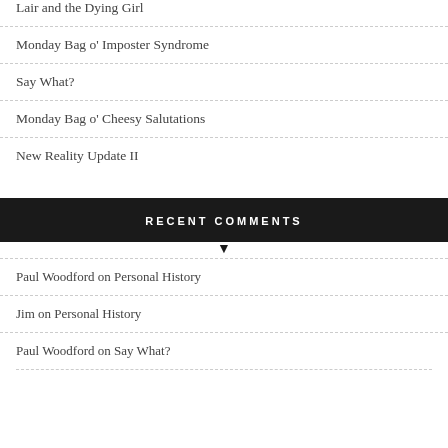Lair and the Dying Girl
Monday Bag o' Imposter Syndrome
Say What?
Monday Bag o' Cheesy Salutations
New Reality Update II
RECENT COMMENTS
Paul Woodford on Personal History
Jim on Personal History
Paul Woodford on Say What?